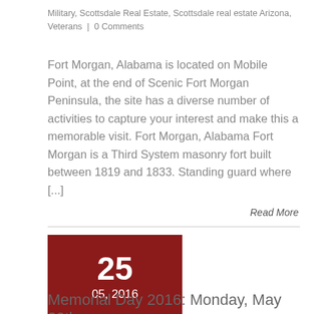Military, Scottsdale Real Estate, Scottsdale real estate Arizona, Veterans | 0 Comments
Fort Morgan, Alabama is located on Mobile Point, at the end of Scenic Fort Morgan Peninsula, the site has a diverse number of activities to capture your interest and make this a memorable visit. Fort Morgan, Alabama Fort Morgan is a Third System masonry fort built between 1819 and 1833. Standing guard where [...]
Read More
[Figure (other): Date badge showing '25 / 05, 2016' in dark red, with a pen icon below on a light gray background]
Memorial Day 2016: Monday, May 30th